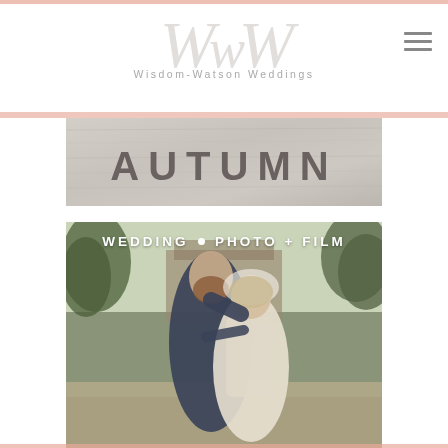[Figure (logo): Wisdom-Watson Weddings logo with stylized 'WW' monogram in gray and text below]
[Figure (illustration): Gray textured banner with the word AUTUMN in large bold letters]
[Figure (photo): Wedding photo of a couple, groom in navy suit with beard leaning over bride in white dress and veil, with greenery and building in background. Text overlay reads WEDDING • PHOTO + FILM]